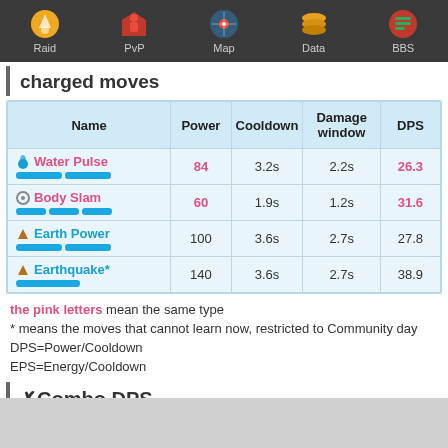Raid | PvP | Map | Data | BBS
charged moves
| Name | Power | Cooldown | Damage window | DPS |
| --- | --- | --- | --- | --- |
| Water Pulse | 84 | 3.2s | 2.2s | 26.3 |
| Body Slam | 60 | 1.9s | 1.2s | 31.6 |
| Earth Power | 100 | 3.6s | 2.7s | 27.8 |
| Earthquake* | 140 | 3.6s | 2.7s | 38.9 |
the pink letters mean the same type
* means the moves that cannot learn now, restricted to Community day
DPS=Power/Cooldown
EPS=Energy/Cooldown
Combo DPS